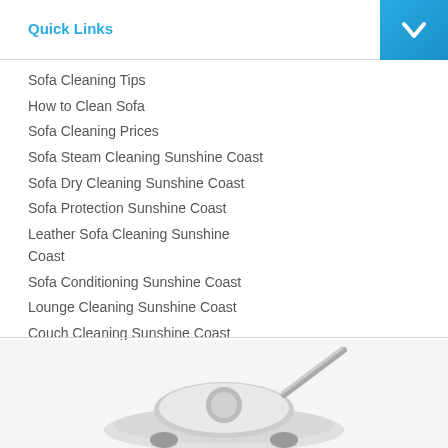Quick Links
Sofa Cleaning Tips
How to Clean Sofa
Sofa Cleaning Prices
Sofa Steam Cleaning Sunshine Coast
Sofa Dry Cleaning Sunshine Coast
Sofa Protection Sunshine Coast
Leather Sofa Cleaning Sunshine Coast
Sofa Conditioning Sunshine Coast
Lounge Cleaning Sunshine Coast
Couch Cleaning Sunshine Coast
Sofa Stain Removal Sunshine Coast
[Figure (photo): Partial view of a vacuum cleaner or cleaning equipment at the bottom of the page]